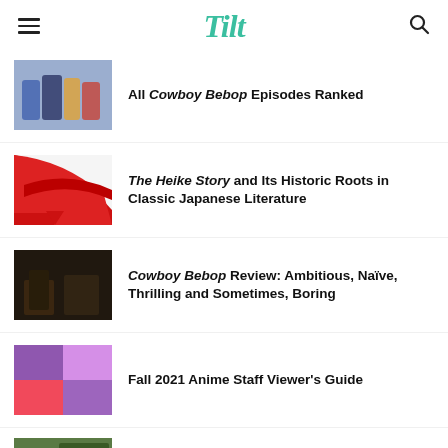Tilt
All Cowboy Bebop Episodes Ranked
The Heike Story and Its Historic Roots in Classic Japanese Literature
Cowboy Bebop Review: Ambitious, Naïve, Thrilling and Sometimes, Boring
Fall 2021 Anime Staff Viewer's Guide